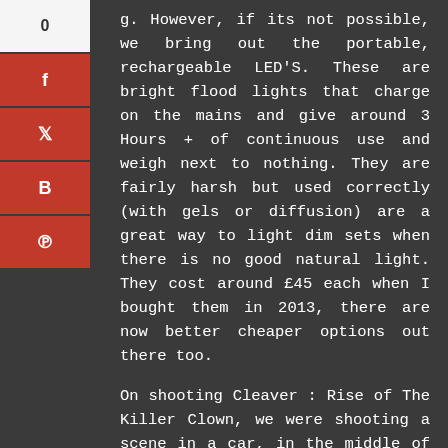g. However, if its not possible, we bring out the portable, rechargeable LED'S. These are bright flood lights that charge on the mains and give around 3 Hours + of continuous use and weigh next to nothing. They are fairly harsh but used correctly (with gels or diffusion) are a great way to light dim sets when there is no good natural light. They cost around £45 each when I bought them in 2013, there are now better cheaper options out there too.
On shooting Cleaver : Rise of The Killer Clown, we were shooting a scene in a car, in the middle of the night, in a residential area. The last thing we wanted to do was pull a generator out there, or we certainly want to run cables across the road. The street lamps gave us some coverage, but nowhere near enough once our actress was in the vehicle. In stead we matched the street light colour on LED's with gels and just used whoever was free as light stands. It matched the natural light, but it gave us the extra light we needed to make the scene more visible.
A small li...